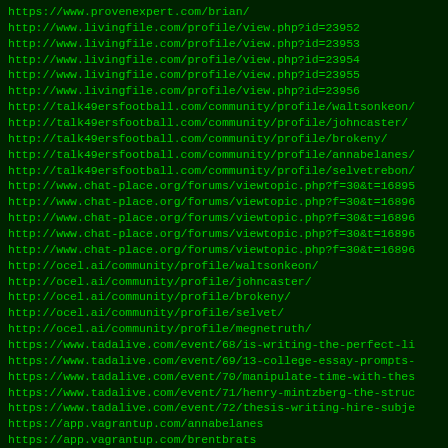https://www.provenexpert.com/brian/
http://www.livingfile.com/profile/view.php?id=23952
http://www.livingfile.com/profile/view.php?id=23953
http://www.livingfile.com/profile/view.php?id=23954
http://www.livingfile.com/profile/view.php?id=23955
http://www.livingfile.com/profile/view.php?id=23956
http://talk49ersfootball.com/community/profile/waltsonkeon/
http://talk49ersfootball.com/community/profile/johncaster/
http://talk49ersfootball.com/community/profile/brokeny/
http://talk49ersfootball.com/community/profile/annabelanes/
http://talk49ersfootball.com/community/profile/selvetrebon/
http://www.chat-place.org/forums/viewtopic.php?f=30&t=16895
http://www.chat-place.org/forums/viewtopic.php?f=30&t=16896
http://www.chat-place.org/forums/viewtopic.php?f=30&t=16896
http://www.chat-place.org/forums/viewtopic.php?f=30&t=16896
http://www.chat-place.org/forums/viewtopic.php?f=30&t=16896
http://ocel.ai/community/profile/waltsonkeon/
http://ocel.ai/community/profile/johncaster/
http://ocel.ai/community/profile/brokeny/
http://ocel.ai/community/profile/selvet/
http://ocel.ai/community/profile/megnetruth/
https://www.tadalive.com/event/68/is-writing-the-perfect-li
https://www.tadalive.com/event/69/13-college-essay-prompts-
https://www.tadalive.com/event/70/manipulate-time-with-thes
https://www.tadalive.com/event/71/henry-mintzberg-the-struc
https://www.tadalive.com/event/72/thesis-writing-hire-subje
https://app.vagrantup.com/annabelanes
https://app.vagrantup.com/brentbrats
https://app.vagrantup.com/castercast